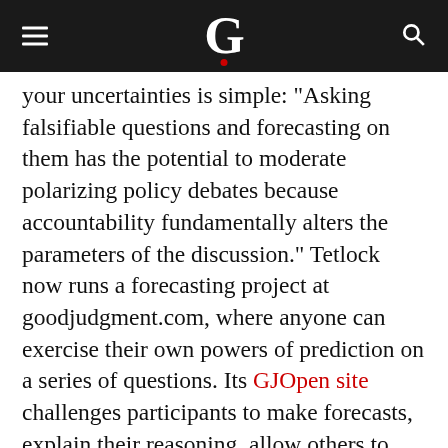G
your uncertainties is simple: “Asking falsifiable questions and forecasting on them has the potential to moderate polarizing policy debates because accountability fundamentally alters the parameters of the discussion.” Tetlock now runs a forecasting project at goodjudgment.com, where anyone can exercise their own powers of prediction on a series of questions. Its GJOpen site challenges participants to make forecasts, explain their reasoning, allow others to challenge them, and find out how they perform against others to hone their skills. Goodjudgment will also help you run a